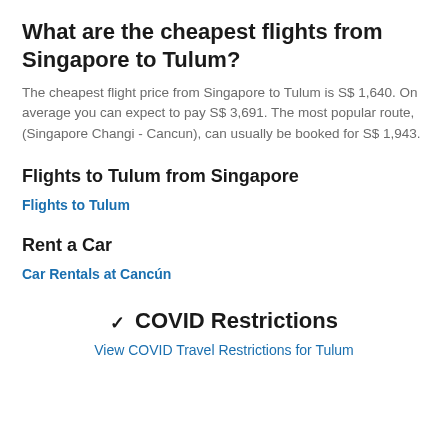What are the cheapest flights from Singapore to Tulum?
The cheapest flight price from Singapore to Tulum is S$ 1,640. On average you can expect to pay S$ 3,691. The most popular route, (Singapore Changi - Cancun), can usually be booked for S$ 1,943.
Flights to Tulum from Singapore
Flights to Tulum
Rent a Car
Car Rentals at Cancún
COVID Restrictions
View COVID Travel Restrictions for Tulum